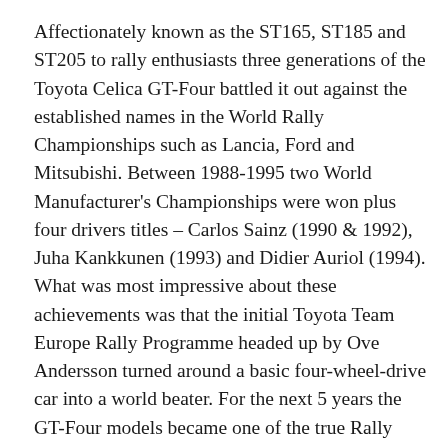Affectionately known as the ST165, ST185 and ST205 to rally enthusiasts three generations of the Toyota Celica GT-Four battled it out against the established names in the World Rally Championships such as Lancia, Ford and Mitsubishi. Between 1988-1995 two World Manufacturer's Championships were won plus four drivers titles – Carlos Sainz (1990 & 1992), Juha Kankkunen (1993) and Didier Auriol (1994).
What was most impressive about these achievements was that the initial Toyota Team Europe Rally Programme headed up by Ove Andersson turned around a basic four-wheel-drive car into a world beater. For the next 5 years the GT-Four models became one of the true Rally Giants.
What was unimpressive however was Toyota's disqualification over turbocharger irregularities (in late 1995, which resulted in the team being thrown out of world events for the next full season) it's remembered as the darkest shadow over a fine record. Among the 100 colour photos of Graham's book is an action shot of Welsh driver David Llewellin's ST165 competing